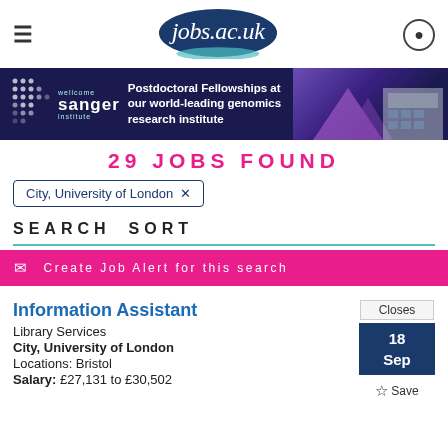jobs.ac.uk
[Figure (screenshot): Wellcome Sanger Institute banner: Postdoctoral Fellowships at our world-leading genomics research institute]
29 JOBS FOUND
City, University of London ×
SEARCH   SORT
✉ Create Job Alert for this search
Information Assistant
Library Services
City, University of London
Locations: Bristol
Salary: £27,131 to £30,502
Closes 18 Sep
Save